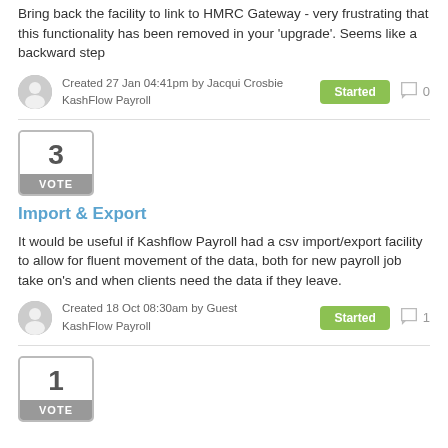Bring back the facility to link to HMRC Gateway - very frustrating that this functionality has been removed in your 'upgrade'. Seems like a backward step
Created 27 Jan 04:41pm by Jacqui Crosbie
KashFlow Payroll
Started  0
3 VOTE
Import & Export
It would be useful if Kashflow Payroll had a csv import/export facility to allow for fluent movement of the data, both for new payroll job take on's and when clients need the data if they leave.
Created 18 Oct 08:30am by Guest
KashFlow Payroll
Started  1
1 VOTE